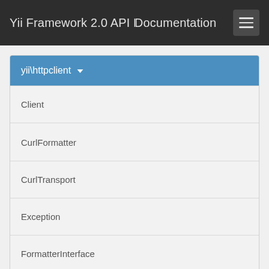Yii Framework 2.0 API Documentation
yii\httpclient
Client
CurlFormatter
CurlTransport
Exception
FormatterInterface
JsonFormatter
JsonParser
Message